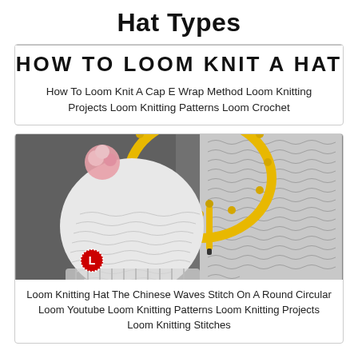Hat Types
[Figure (screenshot): Partially cropped banner text reading HOW TO LOOM KNIT A HAT]
How To Loom Knit A Cap E Wrap Method Loom Knitting Projects Loom Knitting Patterns Loom Crochet
[Figure (photo): A white loom-knitted hat with pink pom-pom on a grey fur background, with a yellow circular loom and yellow hook tool. Close-up of knitting stitch texture on the right. Red L logo badge in lower left corner.]
Loom Knitting Hat The Chinese Waves Stitch On A Round Circular Loom Youtube Loom Knitting Patterns Loom Knitting Projects Loom Knitting Stitches